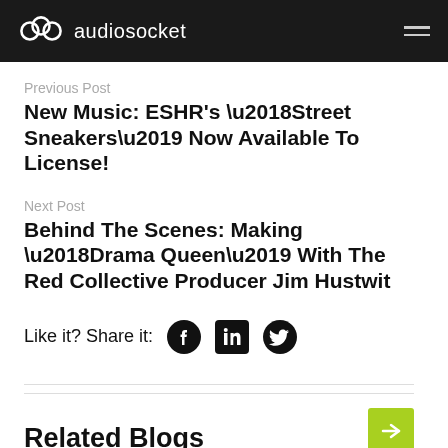audiosocket
Previous Post
New Music: ESHR's ‘Street Sneakers’ Now Available To License!
Next Post
Behind The Scenes: Making ‘Drama Queen’ With The Red Collective Producer Jim Hustwit
Like it? Share it:
Related Blogs